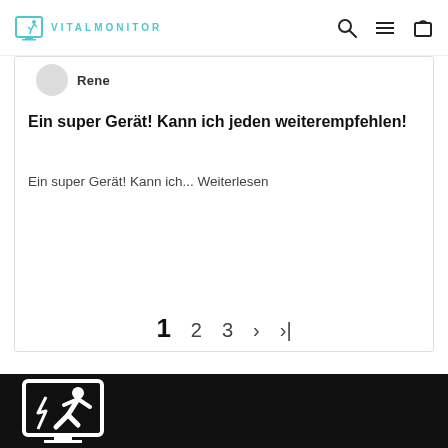VITALMONITOR
Rene
Ein super Gerät! Kann ich jeden weiterempfehlen!
Ein super Gerät! Kann ich... Weiterlesen
1  2  3  ›  »|
[Figure (logo): Vitalmonitor logo — white runner/skater icon on black background in footer]